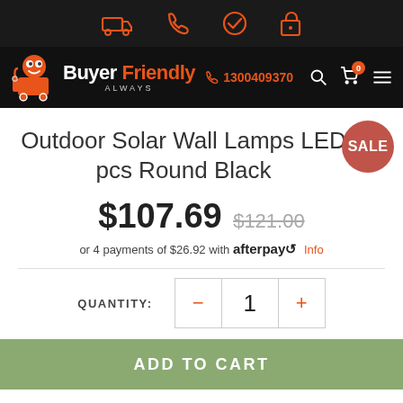[Figure (screenshot): Top icon bar with delivery truck, phone, checkmark, and lock icons in orange on dark background]
[Figure (logo): Buyer Friendly Always logo with cartoon character on black navigation bar, phone number 1300409370, search, cart and menu icons]
Outdoor Solar Wall Lamps LED pcs Round Black
$107.69  $121.00
or 4 payments of $26.92 with afterpay Info
QUANTITY: 1
ADD TO CART